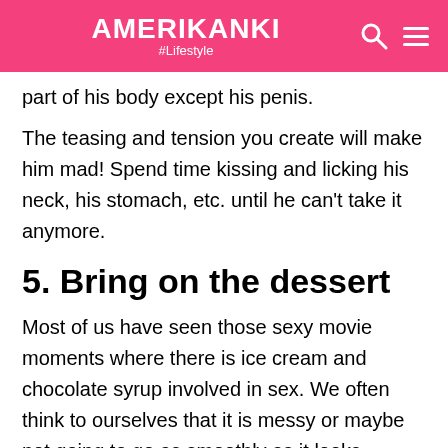AMERIKANKI #Lifestyle
part of his body except his penis.
The teasing and tension you create will make him mad! Spend time kissing and licking his neck, his stomach, etc. until he can't take it anymore.
5. Bring on the dessert
Most of us have seen those sexy movie moments where there is ice cream and chocolate syrup involved in sex. We often think to ourselves that it is messy or maybe not going to go as smoothly as it looks.